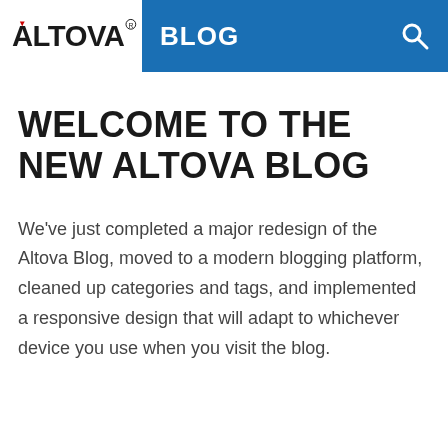ALTOVA BLOG
WELCOME TO THE NEW ALTOVA BLOG
We've just completed a major redesign of the Altova Blog, moved to a modern blogging platform, cleaned up categories and tags, and implemented a responsive design that will adapt to whichever device you use when you visit the blog.